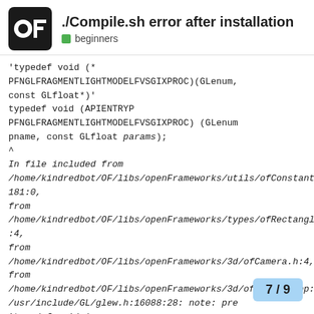./Compile.sh error after installation
beginners
'typedef void (* PFNGLFRAGMENTLIGHTMODELFVSGIXPROC)(GLenum, const GLfloat*)'
typedef void (APIENTRYP PFNGLFRAGMENTLIGHTMODELFVSGIXPROC) (GLenum pname, const GLfloat params);
^
In file included from
/home/kindredbot/OF/libs/openFrameworks/utils/ofConstants.h:181:0,
from
/home/kindredbot/OF/libs/openFrameworks/types/ofRectangle.h:4,
from
/home/kindredbot/OF/libs/openFrameworks/3d/ofCamera.h:4,
from
/home/kindredbot/OF/libs/openFrameworks/3d/ofCamera.cpp:1:
/usr/include/GL/glew.h:16088:28: note: pre
'typedef void (